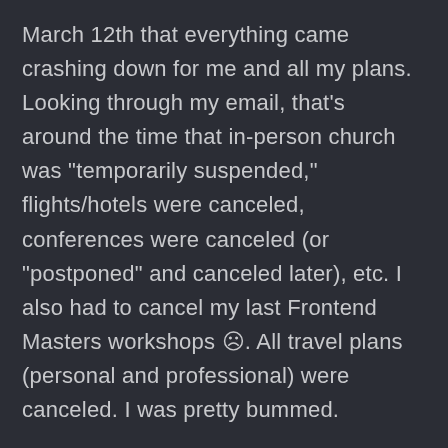March 12th that everything came crashing down for me and all my plans. Looking through my email, that's around the time that in-person church was "temporarily suspended," flights/hotels were canceled, conferences were canceled (or "postponed" and canceled later), etc. I also had to cancel my last Frontend Masters workshops 😞. All travel plans (personal and professional) were canceled. I was pretty bummed.
COVID shook up our home situation a lot as it did for most people (I have a wife and 4 kids. So for the purposes of privacy). Also, all the...